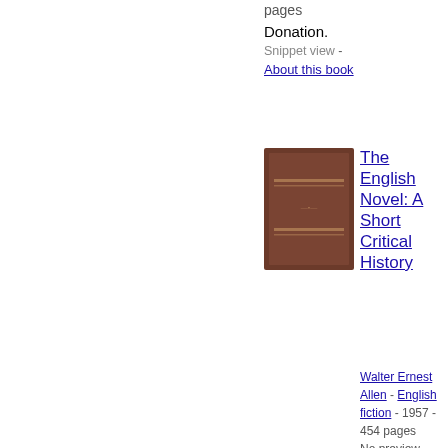pages
Donation.
Snippet view - About this book
[Figure (photo): Brown book cover for The English Novel: A Short Critical History]
The English Novel: A Short Critical History
Walter Ernest Allen - English fiction - 1957 - 454 pages
No preview available - About this book
[Figure (photo): Brown book cover for The English Novel: A Short Critical History]
The English Novel: A Short Critical...